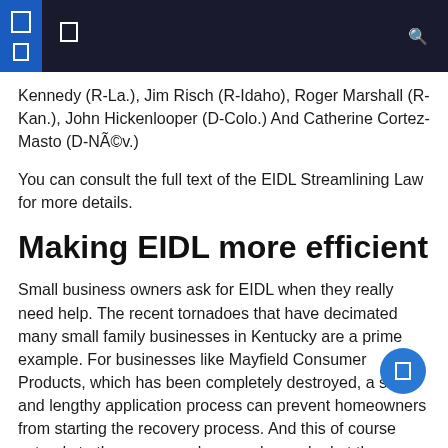[navigation header with icons and search]
Kennedy (R-La.), Jim Risch (R-Idaho), Roger Marshall (R-Kan.), John Hickenlooper (D-Colo.) And Catherine Cortez-Masto (D-NÃ©v.)
You can consult the full text of the EIDL Streamlining Law for more details.
Making EIDL more efficient
Small business owners ask for EIDL when they really need help. The recent tornadoes that have decimated many small family businesses in Kentucky are a prime example. For businesses like Mayfield Consumer Products, which has been completely destroyed, a slow and lengthy application process can prevent homeowners from starting the recovery process. And this of course extends to the many employees who worked at the factory.